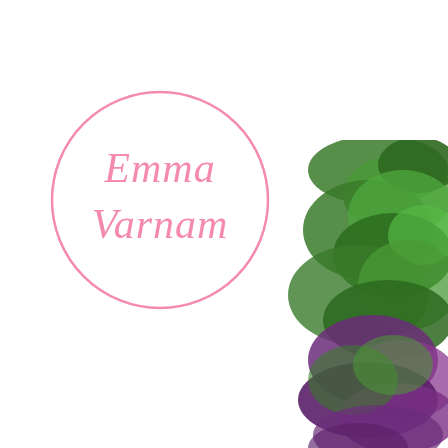[Figure (logo): Emma Varnam circular logo with pink script text and pink circle border on white background]
[Figure (photo): Green and purple textured yarn or fiber material, partially visible on the right side of the page]